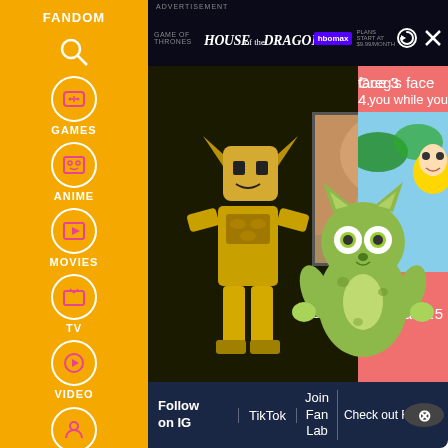[Figure (screenshot): Fandom website screenshot showing a sidebar navigation with logo, Games, Anime, Movies, TV, Video icons, an advertisement banner for House of the Dragon on HBO Max, and a pink content area showing 'Greg's face 3', 'Greg's face 4', 'Greg's face 5' labels with cartoon character images (Roblox figure, anime face close-up, cartoon cat). Bottom bar has Follow on IG, TikTok, Join Fan Lab, Check out Fandom navigation items.]